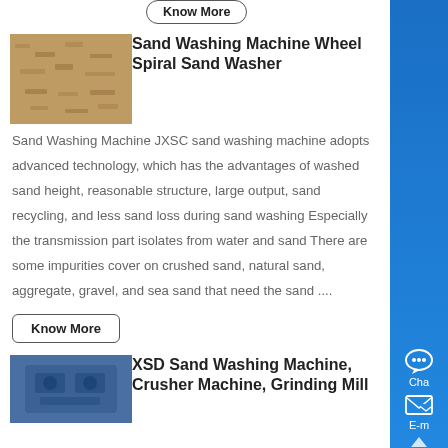[Figure (photo): Thumbnail image of sand/gravel material, brownish-tan color]
Sand Washing Machine Wheel Spiral Sand Washer
Sand Washing Machine JXSC sand washing machine adopts advanced technology, which has the advantages of washed sand height, reasonable structure, large output, sand recycling, and less sand loss during sand washing Especially the transmission part isolates from water and sand There are some impurities cover on crushed sand, natural sand, aggregate, gravel, and sea sand that need the sand ....
Know More
[Figure (photo): Thumbnail image of a blue industrial machine/equipment]
XSD Sand Washing Machine, Crusher Machine, Grinding Mill